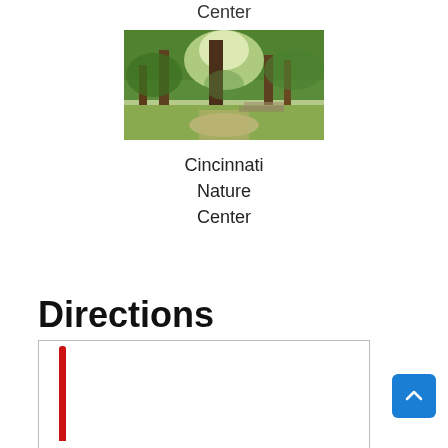Center
[Figure (photo): A forest path with tall green trees and sunlight filtering through the canopy, Cincinnati Nature Center]
Cincinnati
Nature
Center
Directions
[Figure (map): A map view with a red vertical route line drawn on a white background, partially visible]
[Figure (other): Blue scroll-to-top button with upward chevron arrow]